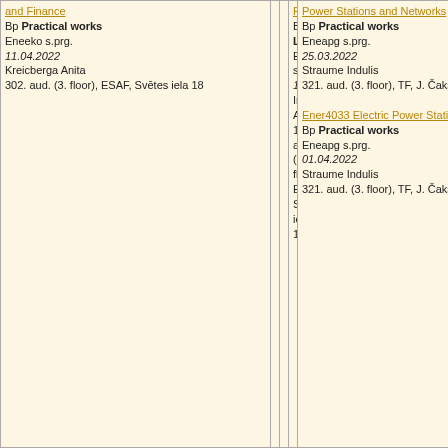| and Finance Bp Practical works Eneeko s.prg. 11.04.2022 Kreicberga Anita 302. aud. (3. floor), ESAF, Svetes iela 18 |  |  | Finance Bp Lecture Eneeko s.prg. 14.04.2022 Irmeja Alona 132. aud. (1. floor), ESAF, Svetes iela 18 | Power Stations and Networks Bp Practical works Eneapg s.prg. 25.03.2022 Straume Indulis 321. aud. (3. floor), TF, J. Cakstes bulvaris 5 | Ener4033 Electric Power Stations and Networks Bp Practical works Eneapg s.prg. 01.04.2022 Straume Indulis 321. aud. (3. floor), TF, J. Cakstes bulvaris 5 |